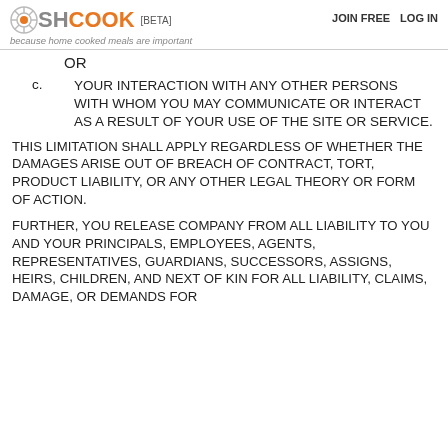SHCOOK [BETA] | because home cooked meals are important | JOIN FREE | LOG IN
OR
c. YOUR INTERACTION WITH ANY OTHER PERSONS WITH WHOM YOU MAY COMMUNICATE OR INTERACT AS A RESULT OF YOUR USE OF THE SITE OR SERVICE.
THIS LIMITATION SHALL APPLY REGARDLESS OF WHETHER THE DAMAGES ARISE OUT OF BREACH OF CONTRACT, TORT, PRODUCT LIABILITY, OR ANY OTHER LEGAL THEORY OR FORM OF ACTION.
FURTHER, YOU RELEASE COMPANY FROM ALL LIABILITY TO YOU AND YOUR PRINCIPALS, EMPLOYEES, AGENTS, REPRESENTATIVES, GUARDIANS, SUCCESSORS, ASSIGNS, HEIRS, CHILDREN, AND NEXT OF KIN FOR ALL LIABILITY, CLAIMS, DAMAGE, OR DEMANDS FOR